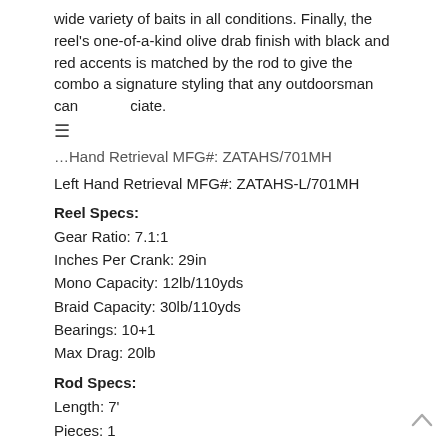wide variety of baits in all conditions. Finally, the reel's one-of-a-kind olive drab finish with black and red accents is matched by the rod to give the combo a signature styling that any outdoorsman can appreciate.
Right Hand Retrieval MFG#: ZATAHS/701MH
Left Hand Retrieval MFG#: ZATAHS-L/701MH
Reel Specs:
Gear Ratio: 7.1:1
Inches Per Crank: 29in
Mono Capacity: 12lb/110yds
Braid Capacity: 30lb/110yds
Bearings: 10+1
Max Drag: 20lb
Rod Specs:
Length: 7'
Pieces: 1
Power: Medium Heavy
Action: Fast
Line Weight: 12-20lb
Lure Weight: 3/8-1oz